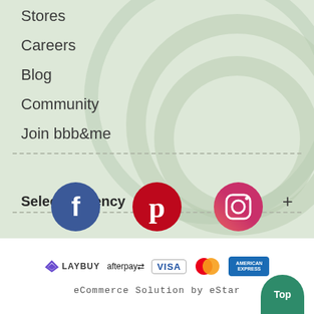Stores
Careers
Blog
Community
Join bbb&me
Select currency +
[Figure (logo): Facebook, Pinterest, and Instagram social media icons in circles]
[Figure (logo): Payment logos: Laybuy, afterpay, Visa, Mastercard, American Express]
eCommerce Solution by eStar
Top